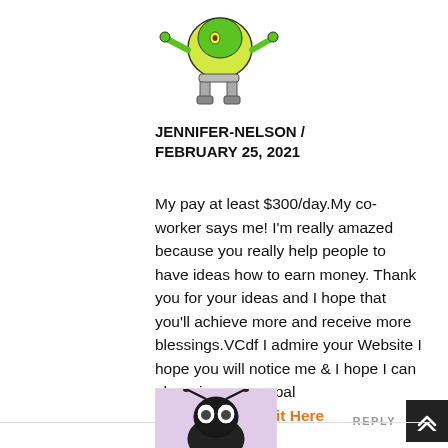[Figure (illustration): Cartoon robot/alien mascot figure with green head, yellow body, mechanical legs, standing pose — top portion visible]
JENNIFER-NELSON / FEBRUARY 25, 2021
My pay at least $300/day.My co-worker says me! I'm really amazed because you really help people to have ideas how to earn money. Thank you for your ideas and I hope that you'll achieve more and receive more blessings.VCdf I admire your Website I hope you will notice me & I hope I can also win your paypal giveaway........Visit Here
REPLY
[Figure (illustration): Cartoon bug/insect character with big eyes — bottom avatar partially visible]